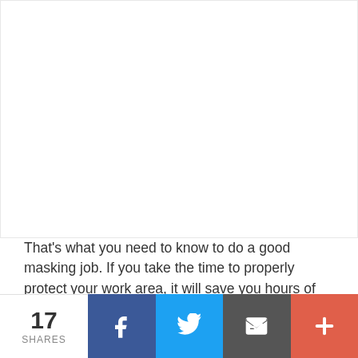[Figure (other): Large white blank image area at the top of the page]
That's what you need to know to do a good masking job. If you take the time to properly protect your work area, it will save you hours of frustration and touch-ups!
17 SHARES | Facebook | Twitter | Email | More